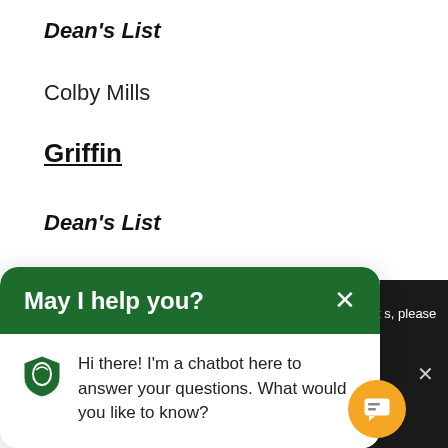Dean's List
Colby Mills
Griffin
Dean's List
Cierra Cleveland
David Quick
Jack Witmer
[Figure (screenshot): Chat popup with green header 'May I help you?' and chatbot message: 'Hi there! I'm a chatbot here to answer your questions. What would you like to know?' with university shield logo]
[Figure (screenshot): Dark overlay showing partial privacy notice text and yellow chat button with message icon]